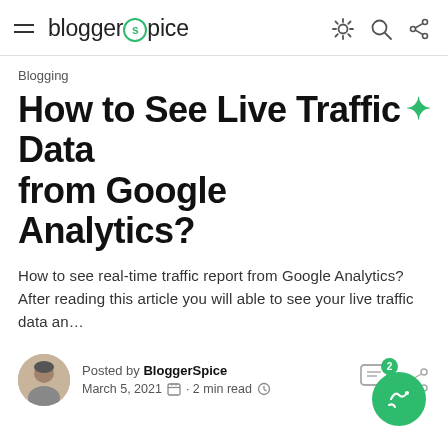bloggerspice — navigation header with hamburger menu, logo, and icons
Blogging
How to See Live Traffic Data from Google Analytics?
How to see real-time traffic report from Google Analytics? After reading this article you will able to see your live traffic data an…
Posted by BloggerSpice
March 5, 2021 • 2 min read